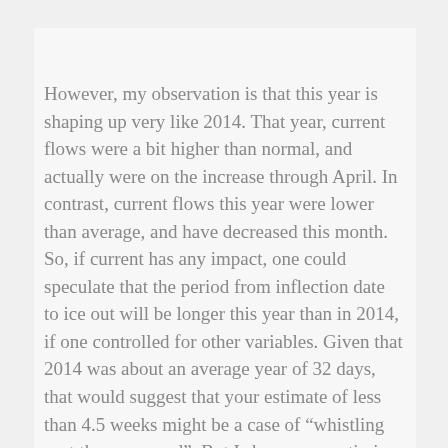However, my observation is that this year is shaping up very like 2014. That year, current flows were a bit higher than normal, and actually were on the increase through April. In contrast, current flows this year were lower than average, and have decreased this month. So, if current has any impact, one could speculate that the period from inflection date to ice out will be longer this year than in 2014, if one controlled for other variables. Given that 2014 was about an average year of 32 days, that would suggest that your estimate of less than 4.5 weeks might be a case of "whistling past the graveyard". But I share your optimism and hope with all my might that my analysis is flawed.